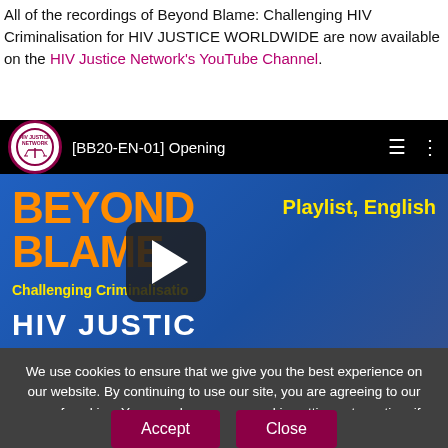All of the recordings of Beyond Blame: Challenging HIV Criminalisation for HIV JUSTICE WORLDWIDE are now available on the HIV Justice Network's YouTube Channel.
[Figure (screenshot): YouTube video player screenshot showing HIV Justice Network channel with video titled [BB20-EN-01] Opening, displaying Beyond Blame Challenging Criminalisation thumbnail with orange text on blue background and Playlist, English label in yellow]
We use cookies to ensure that we give you the best experience on our website. By continuing to use our site, you are agreeing to our use of cookies. You can change your cookie settings at any time if you want. Find out more in our Privacy & Cookie Policy.
Accept   Close